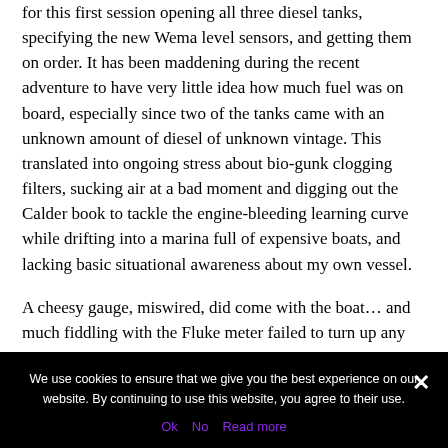for this first session opening all three diesel tanks, specifying the new Wema level sensors, and getting them on order. It has been maddening during the recent adventure to have very little idea how much fuel was on board, especially since two of the tanks came with an unknown amount of diesel of unknown vintage. This translated into ongoing stress about bio-gunk clogging filters, sucking air at a bad moment and digging out the Calder book to tackle the engine-bleeding learning curve while drifting into a marina full of expensive boats, and lacking basic situational awareness about my own vessel.
A cheesy gauge, miswired, did come with the boat... and much fiddling with the Fluke meter failed to turn up any
We use cookies to ensure that we give you the best experience on our website. By continuing to use this website, you agree to their use.
Ok   No   Read more